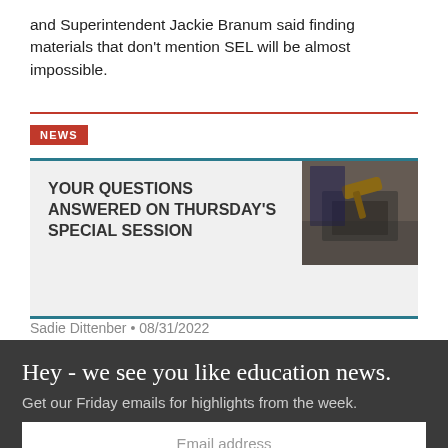and Superintendent Jackie Branum said finding materials that don't mention SEL will be almost impossible.
NEWS
YOUR QUESTIONS ANSWERED ON THURSDAY'S SPECIAL SESSION
[Figure (photo): Photo of a gavel on a wooden surface in a courtroom or meeting chamber]
Sadie Dittenber • 08/31/2022
Hey - we see you like education news.
Get our Friday emails for highlights from the week.
Email address
Subscribe
No, thanks